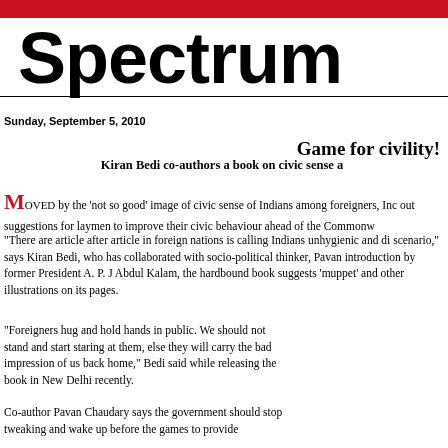Spectrum
Sunday, September 5, 2010
Game for civility!
Kiran Bedi co-authors a book on civic sense a
MOVED by the 'not so good' image of civic sense of Indians among foreigners, Inc out suggestions for laymen to improve their civic behaviour ahead of the Commonw
"There are article after article in foreign nations is calling Indians unhygienic and di scenario," says Kiran Bedi, who has collaborated with socio-political thinker, Pavan introduction by former President A. P. J Abdul Kalam, the hardbound book suggests ‘muppet’ and other illustrations on its pages.
"Foreigners hug and hold hands in public. We should not stand and start staring at them, else they will carry the bad impression of us back home," Bedi said while releasing the book in New Delhi recently.
Co-author Pavan Chaudary says the government should stop tweaking and wake up before the games to provide